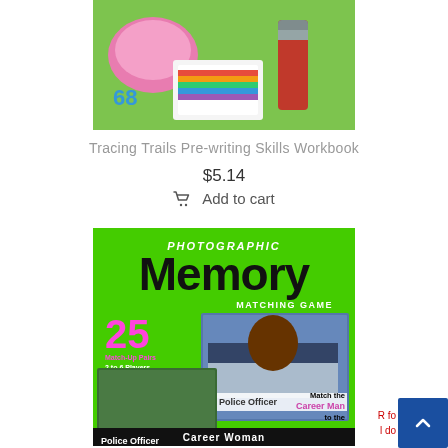[Figure (photo): Top portion of a children's educational product (Tracing Trails Pre-writing Skills Workbook) showing colorful craft/activity items on green background]
Tracing Trails Pre-writing Skills Workbook
$5.14
Add to cart
[Figure (photo): Photographic Memory Matching Game product cover - green background with large 'PHOTOGRAPHIC Memory MATCHING GAME' title, '25 Match-Up Pairs, 2 to 6 Players, Grade Pre-K and Up', photos of Police Officer career cards, text 'Match the Career Man to the Career Woman', 'Police Officer' label visible]